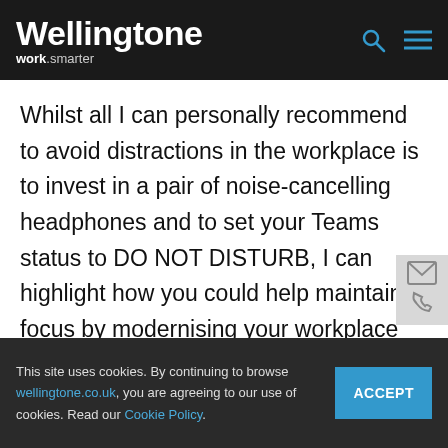Wellingtone work.smarter
Whilst all I can personally recommend to avoid distractions in the workplace is to invest in a pair of noise-cancelling headphones and to set your Teams status to DO NOT DISTURB, I can highlight how you could help maintain focus by modernising your workplace through technology, to enable you to get a better grip of your own and your teams' workloads, to
This site uses cookies. By continuing to browse wellingtone.co.uk, you are agreeing to our use of cookies. Read our Cookie Policy.